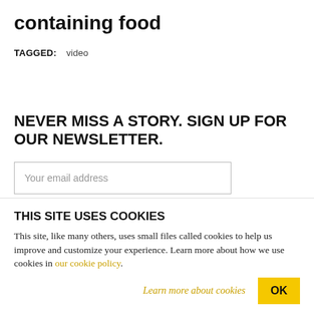containing food
TAGGED: video
NEVER MISS A STORY. SIGN UP FOR OUR NEWSLETTER.
Your email address
SIGN UP
THIS SITE USES COOKIES
This site, like many others, uses small files called cookies to help us improve and customize your experience. Learn more about how we use cookies in our cookie policy.
Learn more about cookies  OK